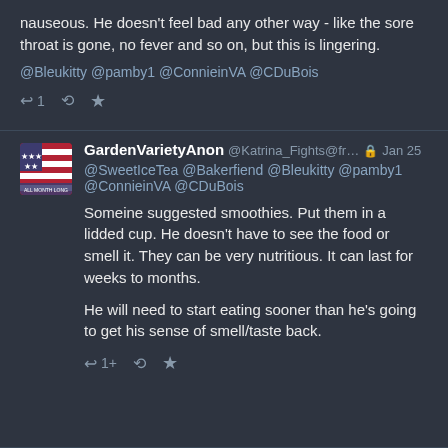nauseous.  He doesn't feel bad any other way - like the sore throat is gone, no fever and so on, but this is lingering.
@Bleukitty @pamby1 @ConnieinVA @CDuBois
GardenVarietyAnon @Katrina_Fights@fr… 🔒 Jan 25
@SweetIceTea @Bakerfiend @Bleukitty @pamby1 @ConnieinVA @CDuBois
Someine suggested smoothies.  Put them in a lidded cup. He doesn't have to see the food or smell it.  They can be very nutritious.  It can last for weeks to months.
He will need to start eating sooner than he's going to get his sense of smell/taste back.